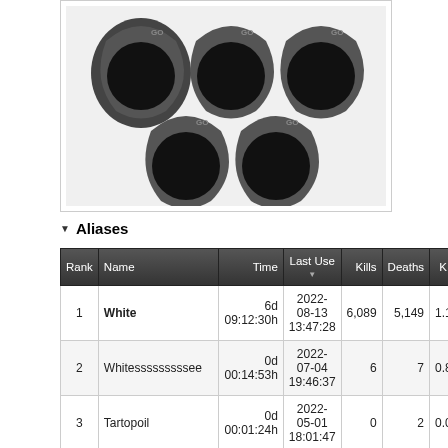[Figure (illustration): Five GoPro camera mounts/clips arranged in two rows on a white background with a border. Top row has three mounts, bottom row has two mounts. Each mount is dark grey/black teardrop shape with a circular lens area and 'GO' text visible.]
▼ Aliases
| Rank | Name | Time | Last Use ▼ | Kills | Deaths | K:D | Headsh… |
| --- | --- | --- | --- | --- | --- | --- | --- |
| 1 | White | 6d 09:12:30h | 2022-08-13 13:47:28 | 6,089 | 5,149 | 1.18 | 1,9… |
| 2 | Whitesssssssssee | 0d 00:14:53h | 2022-07-04 19:46:37 | 6 | 7 | 0.86 |  |
| 3 | Tartopoil | 0d 00:01:24h | 2022-05-01 18:01:47 | 0 | 2 | 0.00 |  |
| 4 | AttrapeMoiSiTuPeux | 0d 00:04:38h | 2022-05-01 18:00:22 | 1 | 3 | 0.33 |  |
| 5 | White Cotorep | 0d 00:56:35h | 2022-05-01 17:51:27 | 40 | 29 | 1.38 | … |
|  |  |  | 2022- |  |  |  |  |